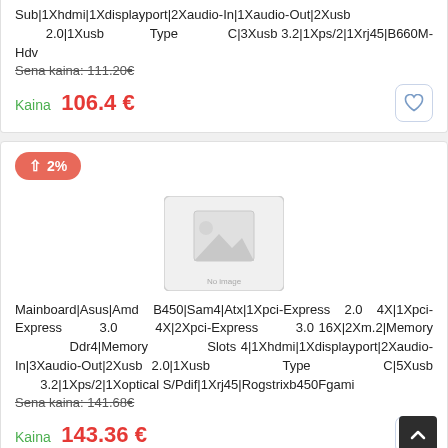Sub|1Xhdmi|1Xdisplayport|2Xaudio-In|1Xaudio-Out|2Xusb 2.0|1Xusb Type C|3Xusb 3.2|1Xps/2|1Xrj45|B660M-Hdv
Sena kaina: 111.20€
Kaina 106.4 €
↑ 2%
[Figure (photo): Placeholder product image with mountain/landscape icon]
Mainboard|Asus|Amd B450|Sam4|Atx|1Xpci-Express 2.0 4X|1Xpci-Express 3.0 4X|2Xpci-Express 3.0 16X|2Xm.2|Memory Ddr4|Memory Slots 4|1Xhdmi|1Xdisplayport|2Xaudio-In|3Xaudio-Out|2Xusb 2.0|1Xusb Type C|5Xusb 3.2|1Xps/2|1Xoptical S/Pdif|1Xrj45|Rogstrixb450Fgami
Sena kaina: 141.68€
Kaina 143.36 €
↑ 2%